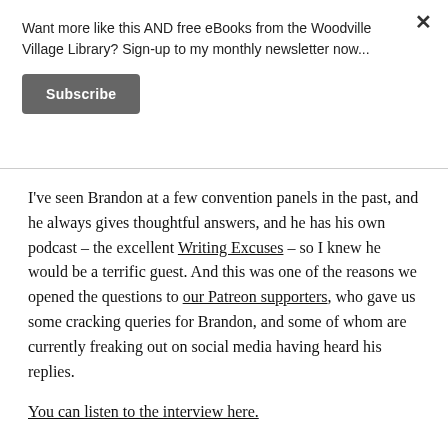Want more like this AND free eBooks from the Woodville Village Library? Sign-up to my monthly newsletter now...
Subscribe
I've seen Brandon at a few convention panels in the past, and he always gives thoughtful answers, and he has his own podcast – the excellent Writing Excuses – so I knew he would be a terrific guest. And this was one of the reasons we opened the questions to our Patreon supporters, who gave us some cracking queries for Brandon, and some of whom are currently freaking out on social media having heard his replies.
You can listen to the interview here.